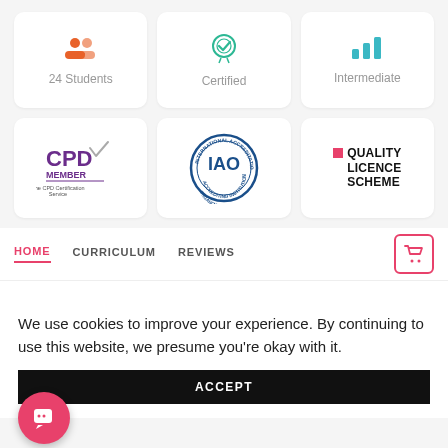[Figure (infographic): Three info cards: 24 Students (orange people icon), Certified (teal badge icon), Intermediate (teal bar chart icon)]
[Figure (infographic): Three logo cards: CPD Member - The CPD Certification Service (purple logo), IAO International Accreditation Organization (circular blue seal), Quality Licence Scheme (black text with pink square)]
HOME  CURRICULUM  REVIEWS  [basket icon]
We use cookies to improve your experience. By continuing to use this website, we presume you're okay with it.
ACCEPT